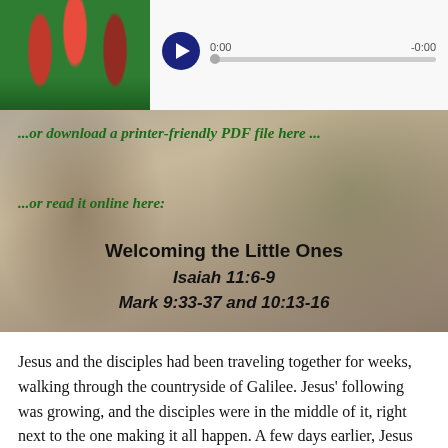[Figure (screenshot): Audio player with red tulips thumbnail on the left, dark blue play button, time display showing 0:00 and -0:00, and a scrubber bar]
...or download a printer-friendly PDF file here ...
...or read it online here:
[Figure (photo): Background photo of a historic red brick church building with large trees in autumn]
Welcoming the Little Ones
Isaiah 11:6-9
Mark 9:33-37 and 10:13-16
Jesus and the disciples had been traveling together for weeks, walking through the countryside of Galilee. Jesus' following was growing, and the disciples were in the middle of it, right next to the one making it all happen. A few days earlier, Jesus had told them, for a